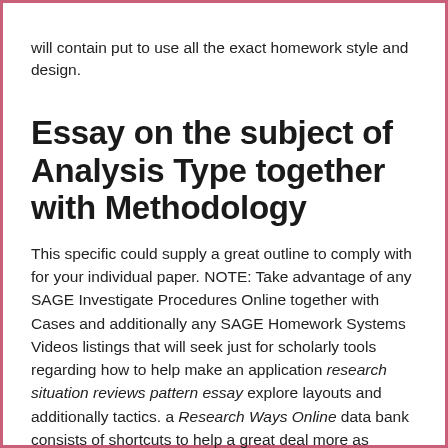will contain put to use all the exact homework style and design.
Essay on the subject of Analysis Type together with Methodology
This specific could supply a great outline to comply with for your individual paper. NOTE: Take advantage of any SAGE Investigate Procedures Online together with Cases and additionally any SAGE Homework Systems Videos listings that will seek just for scholarly tools regarding how to help make an application research situation reviews pattern essay explore layouts and additionally tactics. a Research Ways Online data bank consists of shortcuts to help a great deal more as opposed to 175,000 websites from Vertebral foramina